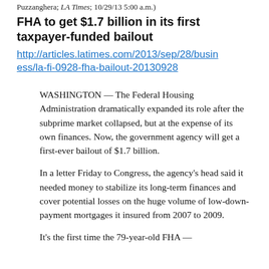Puzzanghera; LA Times; 10/29/13 5:00 a.m.)
FHA to get $1.7 billion in its first taxpayer-funded bailout
http://articles.latimes.com/2013/sep/28/business/la-fi-0928-fha-bailout-20130928
WASHINGTON — The Federal Housing Administration dramatically expanded its role after the subprime market collapsed, but at the expense of its own finances. Now, the government agency will get a first-ever bailout of $1.7 billion.
In a letter Friday to Congress, the agency's head said it needed money to stabilize its long-term finances and cover potential losses on the huge volume of low-down-payment mortgages it insured from 2007 to 2009.
It's the first time the 79-year-old FHA —